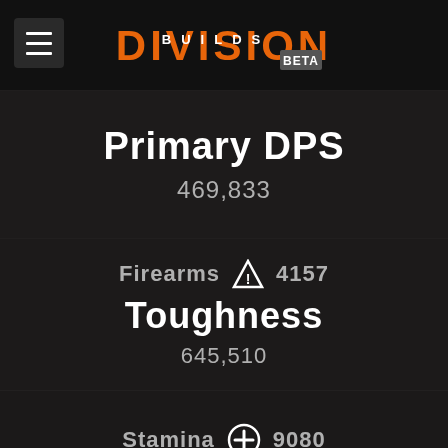DIVISION BUILDS BETA
Primary DPS
469,833
Firearms △ 4157
Toughness
645,510
Stamina ⊕ 9080
Skill Power